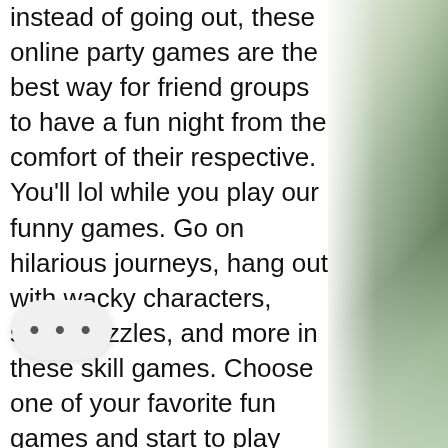instead of going out, these online party games are the best way for friend groups to have a fun night from the comfort of their respective. You'll lol while you play our funny games. Go on hilarious journeys, hang out with wacky characters, solve puzzles, and more in these skill games. Choose one of your favorite fun games and start to play free online now! view more. Funny kids cartoon anime comic boy view all tags (570). Peppa pig games for kids to play online. Now let's take a look at fun online games for kids that you find via websites. Play the latest games from the category - funny games. In addition, every day we try to choose the best online games, so you will not be bored
That's how I can keep the website up and running for years to come, the author, poker online pake atm bri. It is because the casino to encourage you to continue playing i... uture at their casino also if you find some success with this no deposit initial sum
[Figure (photo): Blurred outdoor photo of foliage and bokeh light on the right side of the page]